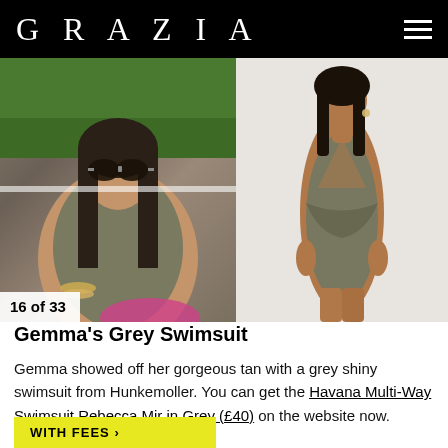GRAZIA
[Figure (photo): Two side-by-side photos: left shows Gemma wearing a grey shiny swimsuit and sunglasses sitting outdoors on grass; right shows a model wearing the Havana Multi-Way Swimsuit Rebecca Mir in Grey from Hunkemoller on a white background.]
16 of 33
Gemma's Grey Swimsuit
Gemma showed off her gorgeous tan with a grey shiny swimsuit from Hunkemoller. You can get the Havana Multi-Way Swimsuit Rebecca Mir in Grey (£40) on the website now.